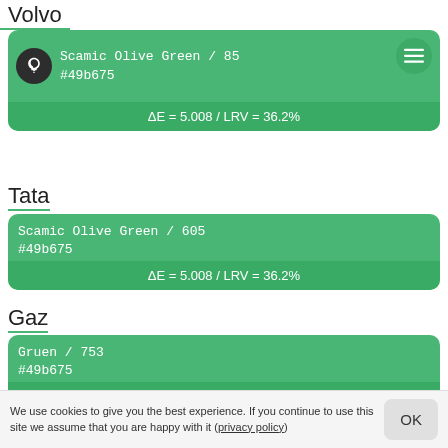Volvo
Scamic Olive Green / 85
#49b675
ΔE = 5.008 / LRV = 36.2%
Tata
Scamic Olive Green / 605
#49b675
ΔE = 5.008 / LRV = 36.2%
Gaz
Gruen / 753
#49b675
ΔE = 5.008 / LRV = 36.2%
Otokar
Daf Delft Green 1608573 / M151543
#49b675
We use cookies to give you the best experience. If you continue to use this site we assume that you are happy with it (privacy policy)